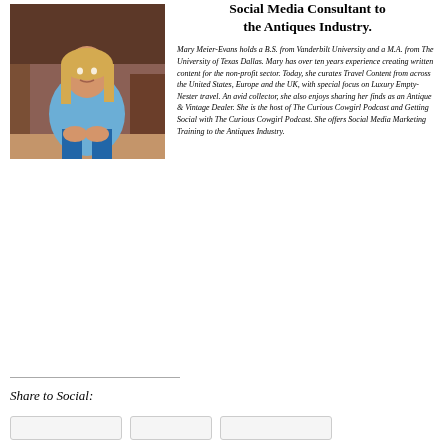[Figure (photo): Portrait photo of Mary Meier-Evans, a woman with long blonde hair wearing a light blue denim shirt and jeans, seated casually against a warm-toned background with antique furniture.]
Social Media Consultant to the Antiques Industry.
Mary Meier-Evans holds a B.S. from Vanderbilt University and a M.A. from The University of Texas Dallas. Mary has over ten years experience creating written content for the non-profit sector. Today, she curates Travel Content from across the United States, Europe and the UK, with special focus on Luxury Empty-Nester travel. An avid collector, she also enjoys sharing her finds as an Antique & Vintage Dealer. She is the host of The Curious Cowgirl Podcast and Getting Social with The Curious Cowgirl Podcast. She offers Social Media Marketing Training to the Antiques Industry.
Share to Social: